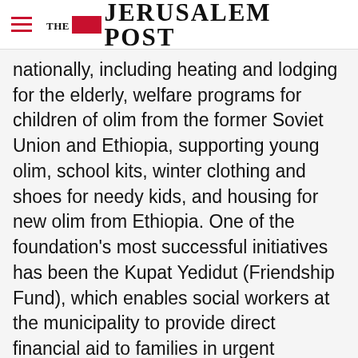THE JERUSALEM POST
nationally, including heating and lodging for the elderly, welfare programs for children of olim from the former Soviet Union and Ethiopia, supporting young olim, school kits, winter clothing and shoes for needy kids, and housing for new olim from Ethiopia. One of the foundation's most successful initiatives has been the Kupat Yedidut (Friendship Fund), which enables social workers at the municipality to provide direct financial aid to families in urgent
Advertisement